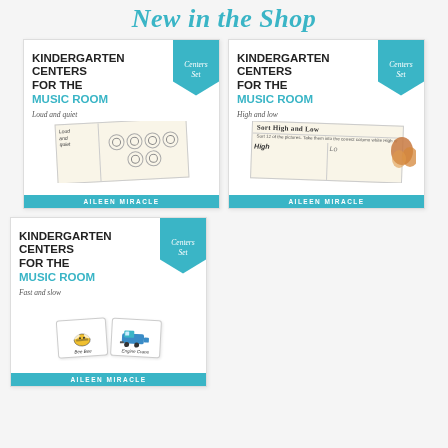New in the Shop
[Figure (illustration): Product card: Kindergarten Centers for the Music Room - Loud and quiet, Centers Set badge, worksheet mockup, Aileen Miracle footer]
[Figure (illustration): Product card: Kindergarten Centers for the Music Room - High and low, Centers Set badge, Sort High and Low worksheet with scissors, Aileen Miracle footer]
[Figure (illustration): Product card: Kindergarten Centers for the Music Room - Fast and slow, Centers Set badge, bee and train flashcards, Aileen Miracle footer]